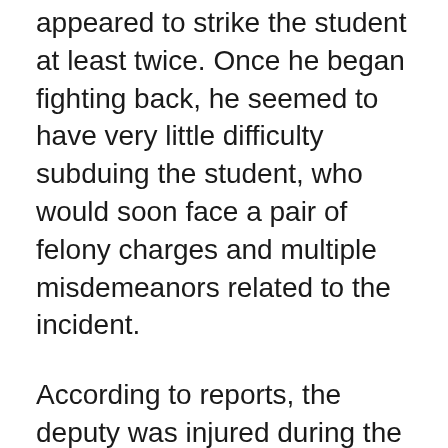appeared to strike the student at least twice. Once he began fighting back, he seemed to have very little difficulty subduing the student, who would soon face a pair of felony charges and multiple misdemeanors related to the incident.
According to reports, the deputy was injured during the altercation. Medics took him to a local hospital, where he was treated for his injuries. The student, however, refused medical treatment and was taken to the